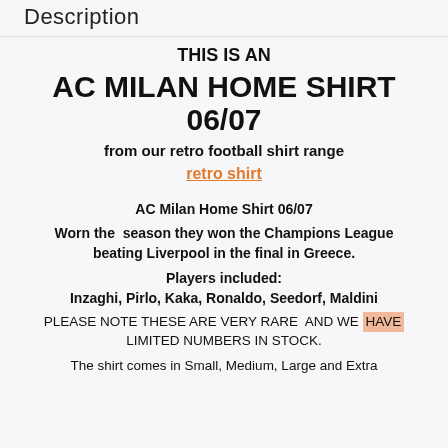Description
THIS IS AN
AC MILAN HOME SHIRT 06/07
from our retro football shirt range
retro shirt
AC Milan Home Shirt 06/07
Worn the season they won the Champions League beating Liverpool in the final in Greece.
Players included:
Inzaghi, Pirlo, Kaka, Ronaldo, Seedorf, Maldini
PLEASE NOTE THESE ARE VERY RARE AND WE HAVE LIMITED NUMBERS IN STOCK.
The shirt comes in Small, Medium, Large and Extra